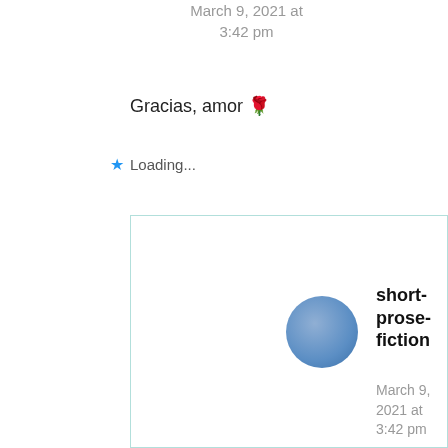March 9, 2021 at 3:42 pm
Gracias, amor 🌹
Loading...
short-prose-fiction
March 9, 2021 at 3:42 pm
De nada 🌹🥰